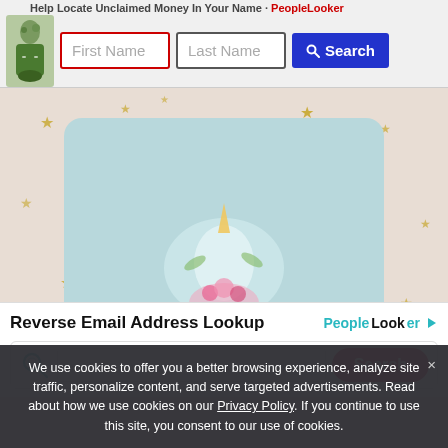[Figure (screenshot): Top banner ad with First Name (red border) and Last Name input fields plus a blue Search button, with a character avatar on the left, and text 'Help Locate Unclaimed Money In Your Name - PeopleLooker']
[Figure (photo): Product photo of a unicorn card holder wallet on a pink background with gold stars]
[Figure (screenshot): Reverse Email Address Lookup ad widget from PeopleLooker with a search input and red Search button]
We use cookies to offer you a better browsing experience, analyze site traffic, personalize content, and serve targeted advertisements. Read about how we use cookies on our Privacy Policy. If you continue to use this site, you consent to our use of cookies.
Unicorn Card Holder Wallets
Blue Adult Unicorn-VOTE For
Created Date :